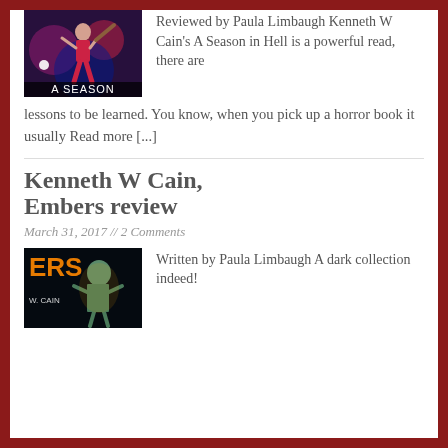[Figure (illustration): Book cover for 'A Season in Hell' by Kenneth W Cain showing a baseball player in a dark, splattered paint style with text 'A SEASON' at the bottom]
Reviewed by Paula Limbaugh Kenneth W Cain's A Season in Hell is a powerful read, there are lessons to be learned. You know, when you pick up a horror book it usually Read more [...]
Kenneth W Cain, Embers review
March 31, 2017 // 2 Comments
[Figure (illustration): Book cover for 'Embers' by W. Cain showing a glowing figure against dark background with the letters ERS visible]
Written by Paula Limbaugh A dark collection indeed!